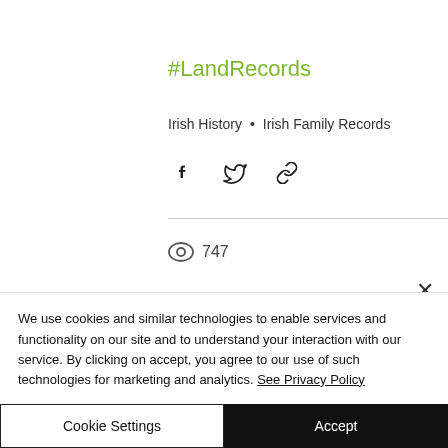#LandRecords
Irish History • Irish Family Records
[Figure (infographic): Social share icons: Facebook, Twitter, and link/chain icon]
747 (views)
We use cookies and similar technologies to enable services and functionality on our site and to understand your interaction with our service. By clicking on accept, you agree to our use of such technologies for marketing and analytics. See Privacy Policy
Cookie Settings
Accept